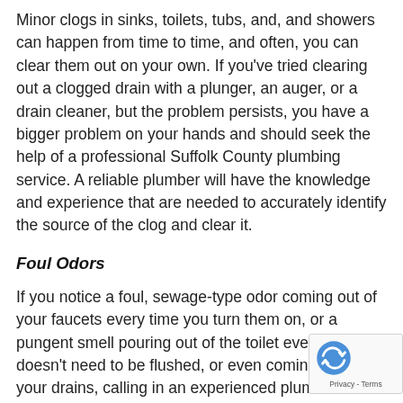Minor clogs in sinks, toilets, tubs, and, and showers can happen from time to time, and often, you can clear them out on your own. If you've tried clearing out a clogged drain with a plunger, an auger, or a drain cleaner, but the problem persists, you have a bigger problem on your hands and should seek the help of a professional Suffolk County plumbing service. A reliable plumber will have the knowledge and experience that are needed to accurately identify the source of the clog and clear it.
Foul Odors
If you notice a foul, sewage-type odor coming out of your faucets every time you turn them on, or a pungent smell pouring out of the toilet even when it doesn't need to be flushed, or even coming out of your drains, calling in an experienced plumber is a definite must. The scent of sewage is alarming a could be a sign that something is wrong with your